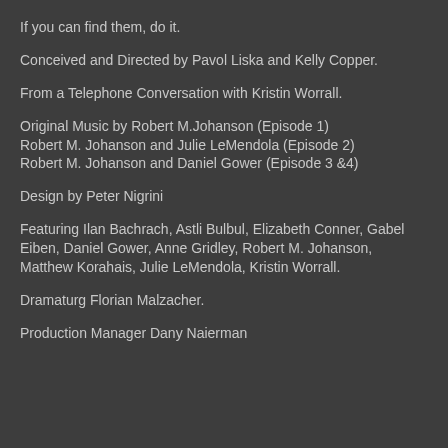If you can find them, do it.
Conceived and Directed by Pavol Liska and Kelly Copper.
From a Telephone Conversation with Kristin Worrall.
Original Music by Robert M.Johanson (Episode 1)
Robert M. Johanson and Julie LeMendola (Episode 2)
Robert M. Johanson and Daniel Gower (Episode 3 &4)
Design by Peter Nigrini
Featuring Ilan Bachrach, Astli Bulbul, Elizabeth Conner, Gabel Eiben, Daniel Gower, Anne Gridley, Robert M. Johanson, Matthew Korahais, Julie LeMendola, Kristin Worrall.
Dramaturg Florian Malzacher.
Production Manager Dany Naierman